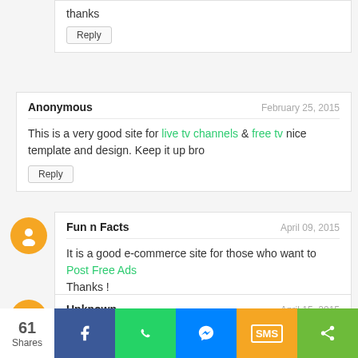thanks
Reply
Anonymous — February 25, 2015
This is a very good site for live tv channels & free tv nice template and design. Keep it up bro
Reply
[Figure (illustration): Orange circular Blogger avatar icon]
Fun n Facts — April 09, 2015
It is a good e-commerce site for those who want to Post Free Ads
Thanks !
Reply
[Figure (illustration): Orange circular Blogger avatar icon]
Unknown — April 15, 2015
nice sharing :)
61 Shares — Share bar with Facebook, WhatsApp, Messenger, SMS, More buttons